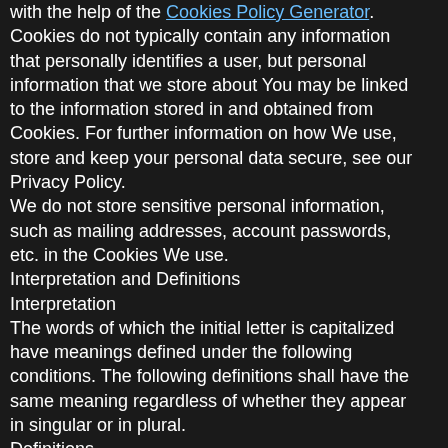with the help of the Cookies Policy Generator.
Cookies do not typically contain any information that personally identifies a user, but personal information that we store about You may be linked to the information stored in and obtained from Cookies. For further information on how We use, store and keep your personal data secure, see our Privacy Policy.
We do not store sensitive personal information, such as mailing addresses, account passwords, etc. in the Cookies We use.
Interpretation and Definitions
Interpretation
The words of which the initial letter is capitalized have meanings defined under the following conditions. The following definitions shall have the same meaning regardless of whether they appear in singular or in plural.
Definitions
For the purposes of this Cookies Policy:
Company (referred to as either "the Company", "We", "Us" or "Our" in this Cookies Policy) refers to Music Workflow Academy.
Cookies means small files that are placed on Your